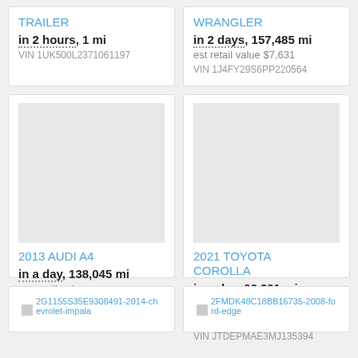TRAILER
in 2 hours, 1 mi
VIN 1UK500L2371061197
WRANGLER
in 2 days, 157,485 mi
est retail value $7,631
VIN 1J4FY29S6PP220564
2013 AUDI A4
in a day, 138,045 mi
est retail value
$21,912
VIN WAUMFCFL3DN011275
2021 TOYOTA COROLLA
in a day, 66,901 mi
est retail value
$21,980
VIN JTDEPMAE3MJ135394
2G1155S35E9308491-2014-chevrolet-impala
2FMDK48C18BB16735-2008-ford-edge